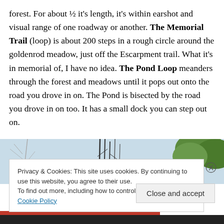forest. For about ½ it's length, it's within earshot and visual range of one roadway or another. The Memorial Trail (loop) is about 200 steps in a rough circle around the goldenrod meadow, just off the Escarpment trail. What it's in memorial of, I have no idea. The Pond Loop meanders through the forest and meadows until it pops out onto the road you drove in on. The Pond is bisected by the road you drove in on too. It has a small dock you can step out on.
[Figure (photo): Partial outdoor photo showing winter or bare tree branches against a light blue-grey sky on the left, dark vertical reeds or grass stalks in the center, and green leafy trees on the right edge.]
Privacy & Cookies: This site uses cookies. By continuing to use this website, you agree to their use.
To find out more, including how to control cookies, see here: Cookie Policy
Close and accept